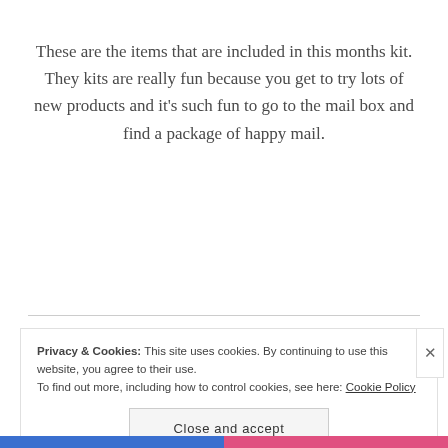These are the items that are included in this months kit. They kits are really fun because you get to try lots of new products and it's such fun to go to the mail box and find a package of happy mail.
Privacy & Cookies: This site uses cookies. By continuing to use this website, you agree to their use. To find out more, including how to control cookies, see here: Cookie Policy
Close and accept